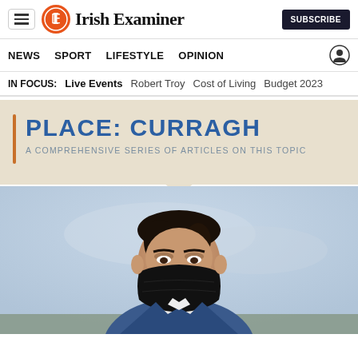Irish Examiner
NEWS  SPORT  LIFESTYLE  OPINION
IN FOCUS:  Live Events  Robert Troy  Cost of Living  Budget 2023
PLACE: CURRAGH
A COMPREHENSIVE SERIES OF ARTICLES ON THIS TOPIC
[Figure (photo): Man in blue suit wearing black face mask, photographed outdoors with blurred background]